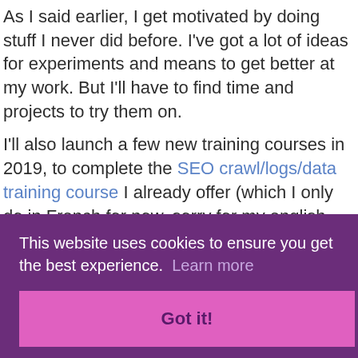As I said earlier, I get motivated by doing stuff I never did before. I've got a lot of ideas for experiments and means to get better at my work. But I'll have to find time and projects to try them on.
I'll also launch a few new training courses in 2019, to complete the SEO crawl/logs/data training course I already offer (which I only do in French for now, sorry for my english-speaking readers).
[Figure (screenshot): Cookie consent banner with purple background. Text reads: 'This website uses cookies to ensure you get the best experience. Learn more' with a pink 'Got it!' button.]
Machine Learning techniques for SEO, and I'll share